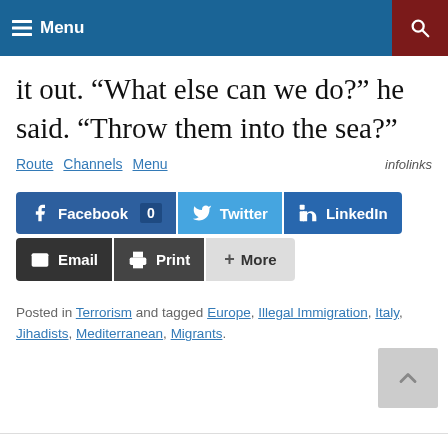Menu
it out. “What else can we do?” he said. “Throw them into the sea?”
Route   Channels   Menu   infolinks
[Figure (screenshot): Social share buttons: Facebook (0), Twitter, LinkedIn, Email, Print, More]
Posted in Terrorism and tagged Europe, Illegal Immigration, Italy, Jihadists, Mediterranean, Migrants.